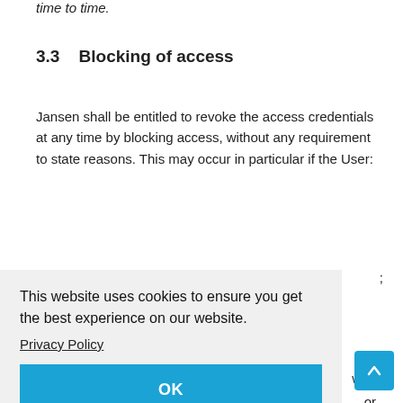time to time.
3.3    Blocking of access
Jansen shall be entitled to revoke the access credentials at any time by blocking access, without any requirement to state reasons. This may occur in particular if the User:
This website uses cookies to ensure you get the best experience on our website.
Privacy Policy
OK
w in
or
n
ths.